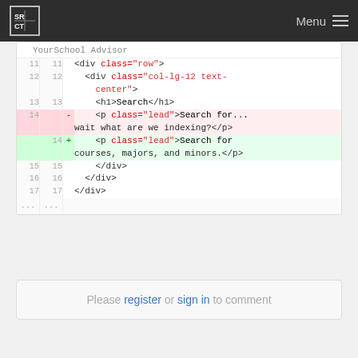SRCT | Menu
[Figure (screenshot): Code diff view showing HTML changes to a file called YourSchool Advisor. Lines 11-17 shown with line numbers. Line 14 is a deletion (red): <p class="lead">Search for... wait what are we indexing?</p>. Line 14 addition (green): <p class="lead">Search for courses, majors, and minors.</p>]
Please register or sign in to comment